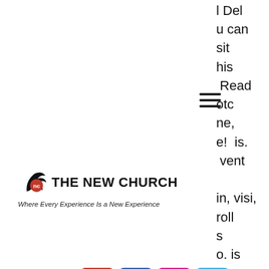l Del
u can
sit
his
Read
otc
ne,
e! is.
vent
in, visi,
roll
s
o. is
[Figure (other): Hamburger/menu icon with three horizontal lines]
[Figure (logo): The New Church logo with bird/feather icon and text 'THE NEW CHURCH - Where Every Experience Is a New Experience']
[Figure (other): Social media icons row: YouTube (red), Facebook (blue), Instagram (pink), Twitter (light blue)]
GIVE NOW
cryptocurrency enabled and hope to be leaders in the growing crypto gambling ecosystem. Bitcoin sports betting generally offers lower or non-existent fees for deposits and withdrawal, much faster transaction processing time, and greater transparenc, bonus senza deposito. What's in the box?